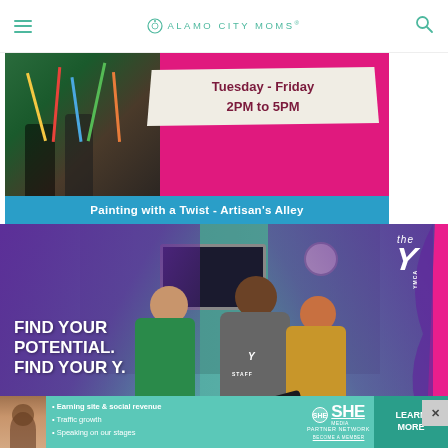ALAMO CITY MOMS
[Figure (photo): Banner ad showing children painting, with text 'Tuesday - Friday 2PM to 5PM' and label 'Painting with a Twist - Artisan's Alley']
Painting with a Twist - Artisan's Alley
[Figure (photo): YMCA advertisement showing a staff member with two children reading together, with text 'FIND YOUR POTENTIAL. FIND YOUR Y.' and 'NOW HIRING Afterschool Youth Leaders!' and the YMCA logo]
[Figure (photo): SHE Media Partner Network banner ad with bullet points: Earning site & social revenue, Traffic growth, Speaking on our stages. Includes LEARN MORE button.]